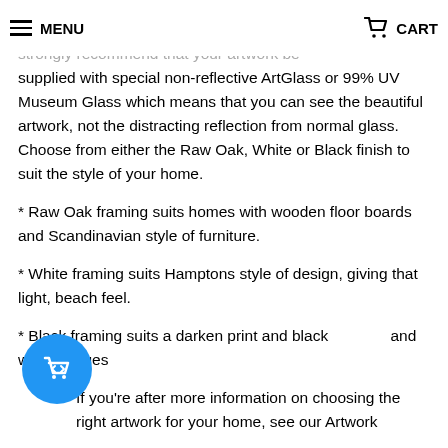MENU | CART
strongly recommend that your artwork be supplied with special non-reflective ArtGlass or 99% UV Museum Glass which means that you can see the beautiful artwork, not the distracting reflection from normal glass. Choose from either the Raw Oak, White or Black finish to suit the style of your home.
* Raw Oak framing suits homes with wooden floor boards and Scandinavian style of furniture.
* White framing suits Hamptons style of design, giving that light, beach feel.
* Black framing suits a darken print and black and white images
If you're after more information on choosing the right artwork for your home, see our Artwork